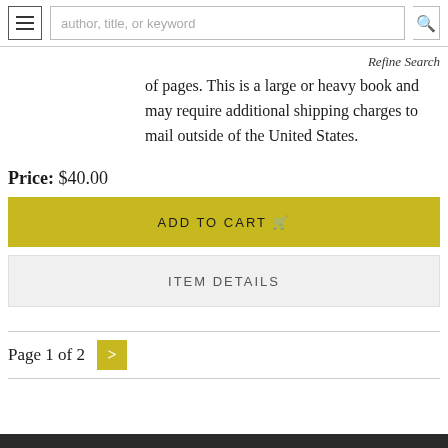author, title, or keyword | Refine Search
of pages. This is a large or heavy book and may require additional shipping charges to mail outside of the United States.
Price: $40.00
[Figure (screenshot): ADD TO CART button in yellow/olive color]
[Figure (screenshot): ITEM DETAILS button in light gray]
Page 1 of 2
dark footer bar